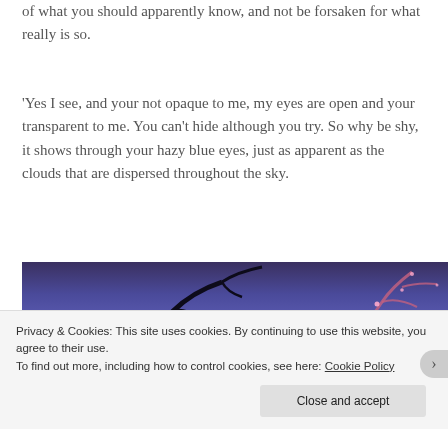of what you should apparently know, and not be forsaken for what really is so.
'Yes I see, and your not opaque to me, my eyes are open and your transparent to me. You can't hide although you try. So why be shy, it shows through your hazy blue eyes, just as apparent as the clouds that are dispersed throughout the sky.
[Figure (photo): A dark moody photograph taken from below, showing bare tree branches silhouetted against a deep blue-purple twilight sky, with what appears to be illuminated structures or lights visible in the background.]
Privacy & Cookies: This site uses cookies. By continuing to use this website, you agree to their use.
To find out more, including how to control cookies, see here: Cookie Policy
Close and accept